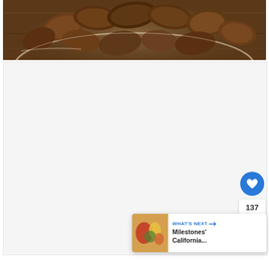[Figure (photo): Close-up photo of food items (appears to be fried or roasted pieces) in a glass bowl on a wooden surface, cropped to show only the top portion of the bowl]
[Figure (screenshot): White content area below the food photo with UI overlay elements: a blue heart/like button, a count of 137, a blue share button, and a 'WHAT'S NEXT' card showing 'Milestones' California...' with a food thumbnail]
137
WHAT'S NEXT → Milestones' California...